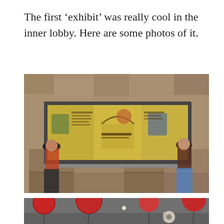The first ‘exhibit’ was really cool in the inner lobby. Here are some photos of it.
[Figure (photo): Two people standing on either side of a large illuminated exhibit display panel set into a stone wall. The display shows colorful illustrated panels with text and dinosaur/animal illustrations. A woman is on the left and a man is on the right.]
[Figure (photo): Interior of a lobby or museum space showing red/orange round lantern-style balloons hanging from the ceiling, and a security camera mounted from the ceiling. The ceiling is dark gray.]